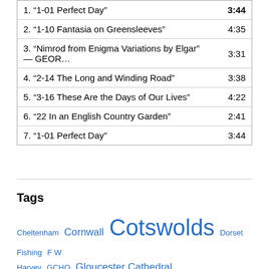| Track | Duration |
| --- | --- |
| 1. “1-01 Perfect Day” | 3:44 |
| 2. “1-10 Fantasia on Greensleeves” | 4:35 |
| 3. “Nimrod from Enigma Variations by Elgar” — GEOR… | 3:31 |
| 4. “2-14 The Long and Winding Road” | 3:38 |
| 5. “3-16 These Are the Days of Our Lives” | 4:22 |
| 6. “22 In an English Country Garden” | 2:41 |
| 7. “1-01 Perfect Day” | 3:44 |
Tags
Cheltenham Cornwall Cotswolds Dorset Fishing F W Harvey GCHQ Gloucester Cathedral Grandchildren Haiku Krakow Krasnayapolyana London Lourdes Painswick Peace Pagoda Poland Poppies Prinknash Abbey Russia Shakespeare Snowdrops Sochi Spain Stained Glass Windows Stratford on